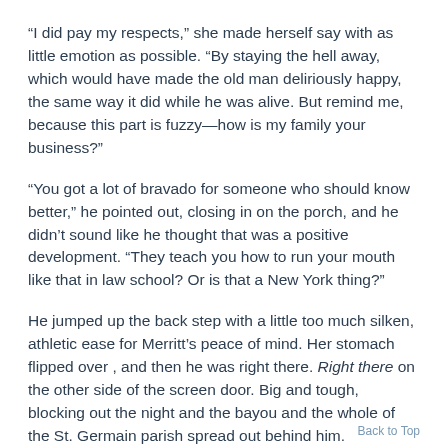“I did pay my respects,” she made herself say with as little emotion as possible. “By staying the hell away, which would have made the old man deliriously happy, the same way it did while he was alive. But remind me, because this part is fuzzy—how is my family your business?”
“You got a lot of bravado for someone who should know better,” he pointed out, closing in on the porch, and he didn’t sound like he thought that was a positive development. “They teach you how to run your mouth like that in law school? Or is that a New York thing?”
He jumped up the back step with a little too much silken, athletic ease for Merritt’s peace of mind. Her stomach flipped over , and then he was right there. Right there on the other side of the screen door. Big and tough, blocking out the night and the bayou and the whole of the St. Germain parish spread out behind him.
And Merritt stopped pretending she
Back to Top